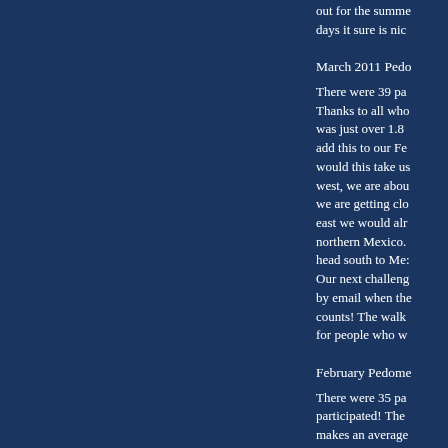out for the summe... days it sure is nic...
March 2011 Pedo...
There were 39 pa... Thanks to all who... was just over 1.8 ... add this to our Fe... would this take us... west, we are abou... we are getting clo... east we would alr... northern Mexico. ... head south to Me:... Our next challeng... by email when the... counts! The walk... for people who w...
February Pedome...
There were 35 pa... participated! The ... makes an average...